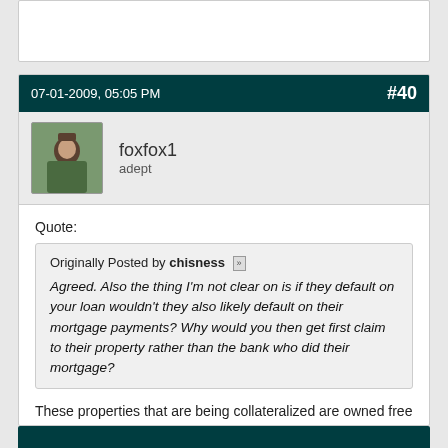07-01-2009, 05:05 PM  #40
[Figure (photo): Avatar of user foxfox1 showing a person outdoors]
foxfox1
adept
Quote:
Originally Posted by chisness
Agreed. Also the thing I'm not clear on is if they default on your loan wouldn't they also likely default on their mortgage payments? Why would you then get first claim to their property rather than the bank who did their mortgage?
These properties that are being collateralized are owned free and clear typically. So, I always have a first lien position. I'll never do seconds.